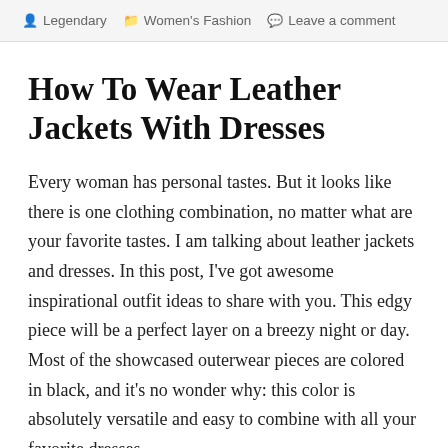Legendary  Women's Fashion  Leave a comment
How To Wear Leather Jackets With Dresses
Every woman has personal tastes. But it looks like there is one clothing combination, no matter what are your favorite tastes. I am talking about leather jackets and dresses. In this post, I've got awesome inspirational outfit ideas to share with you. This edgy piece will be a perfect layer on a breezy night or day. Most of the showcased outerwear pieces are colored in black, and it's no wonder why: this color is absolutely versatile and easy to combine with all your favorite dresses.